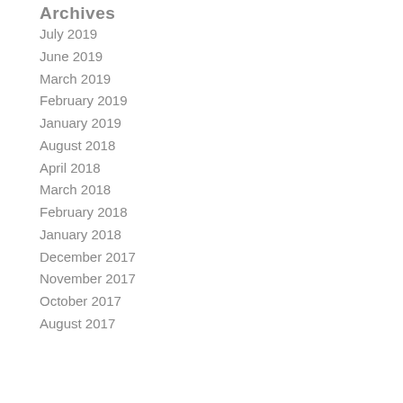Archives
July 2019
June 2019
March 2019
February 2019
January 2019
August 2018
April 2018
March 2018
February 2018
January 2018
December 2017
November 2017
October 2017
August 2017